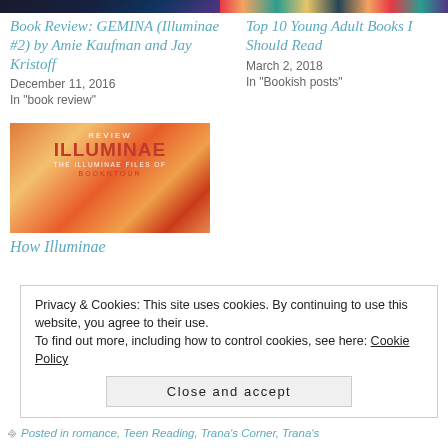[Figure (photo): Top strip showing partial book cover images — dark blue/purple on left, colorful book spines on right]
Book Review: GEMINA (Illuminae #2) by Amie Kaufman and Jay Kristoff
December 11, 2016
In "book review"
Top 10 Young Adult Books I Should Read
March 2, 2018
In "Bookish posts"
[Figure (photo): Book review image for Illuminae — orange/red nebula background with ILLUMINAE title text]
How Illuminae
Privacy & Cookies: This site uses cookies. By continuing to use this website, you agree to their use.
To find out more, including how to control cookies, see here: Cookie Policy
Close and accept
Posted in romance, Teen Reading, Trana's Corner, Trana's